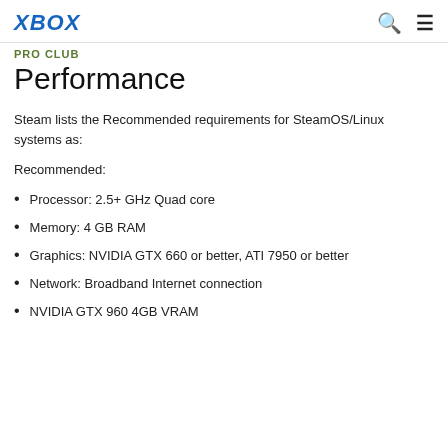XBOX
PRO CLUB
Performance
Steam lists the Recommended requirements for SteamOS/Linux systems as:
Recommended:
Processor: 2.5+ GHz Quad core
Memory: 4 GB RAM
Graphics: NVIDIA GTX 660 or better, ATI 7950 or better
Network: Broadband Internet connection
NVIDIA GTX 960 4GB VRAM